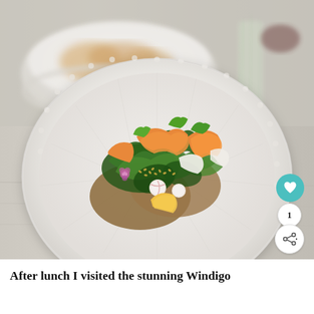[Figure (photo): A beautifully presented open-faced sandwich or toast topped with colorful vegetables including orange carrots, radishes, mixed greens, kale, spinach, and seeds, served on a white beaded-rim plate. In the background there is a bowl of bread/crackers and a glass vase. The table surface is light wood. In the bottom right corner there are UI overlay elements: a teal heart/like button, a count badge showing '1', and a share button.]
After lunch I visited the stunning Windigo